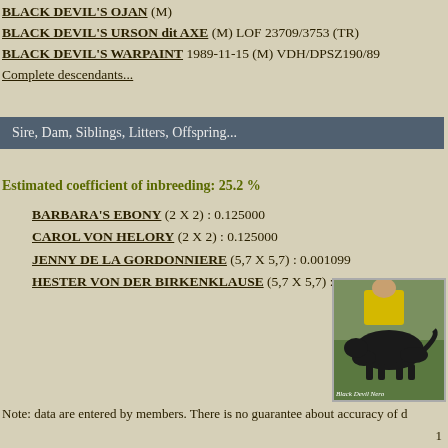BLACK DEVIL'S OJAN (M)
BLACK DEVIL'S URSON dit AXE (M) LOF 23709/3753 (TR)
BLACK DEVIL'S WARPAINT 1989-11-15 (M) VDH/DPSZ190/89
Complete descendants...
Sire, Dam, Siblings, Litters, Offspring...
Estimated coefficient of inbreeding: 25.2 %
BARBARA'S EBONY (2 X 2) : 0.125000
CAROL VON HELORY (2 X 2) : 0.125000
JENNY DE LA GORDONNIERE (5,7 X 5,7) : 0.001099
HESTER VON DER BIRKENKLAUSE (5,7 X 5,7) : 0.000977
[Figure (photo): Photo of a black dog being held/shown outdoors on grass by a person in yellow, with caption 'Black Devil Nero']
Note: data are entered by members. There is no guarantee about accuracy of d